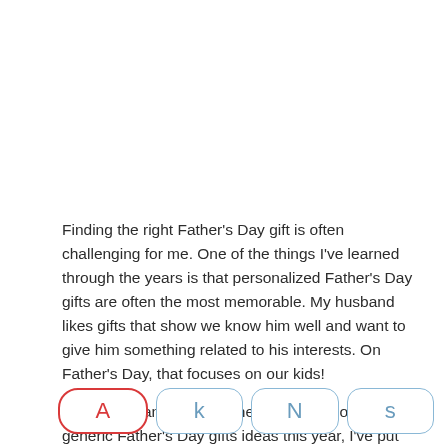Finding the right Father's Day gift is often challenging for me. One of the things I've learned through the years is that personalized Father's Day gifts are often the most memorable. My husband likes gifts that show we know him well and want to give him something related to his interests. On Father's Day, that focuses on our kids!
So rather than try and come up with all sorts of generic Father's Day gifts ideas this year, I've put together a list of last-
[Figure (screenshot): Four rounded-rectangle buttons in a row at the bottom: first button has red border and red letter A, remaining three have light blue borders with blue letters k, N, s]